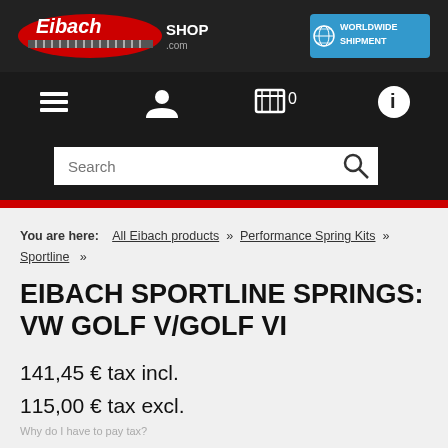[Figure (logo): Eibach Shop.com logo with worldwide shipment badge]
[Figure (screenshot): Navigation bar with menu, account, cart (0), and info icons]
[Figure (screenshot): Search bar with text input and magnifying glass icon]
You are here: All Eibach products » Performance Spring Kits » Sportline »
EIBACH SPORTLINE SPRINGS: VW GOLF V/GOLF VI
141,45 € tax incl.
115,00 € tax excl.
Why do I have to pay tax?